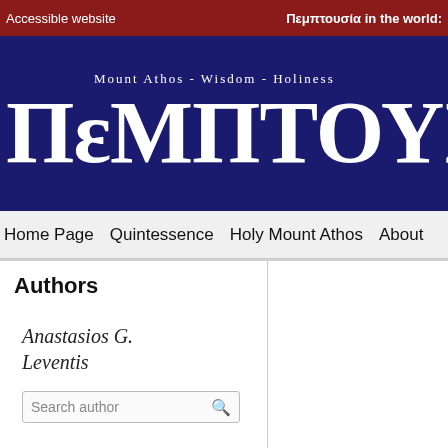Accessible website | Πεμπτουσία in the world:
[Figure (logo): Πεμπτουσία website logo with subtitle 'Mount Athos - Wisdom - Holiness' on dark navy background]
Home Page  Quintessence  Holy Mount Athos  About
Authors
Anastasios G. Leventis
Search author